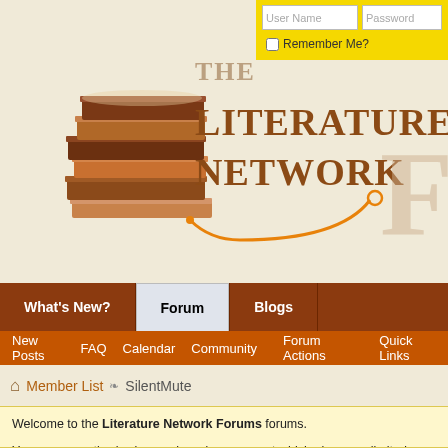[Figure (screenshot): The Literature Network Forums logo with stacked books illustration and orange circuit-line design]
User Name | Password | Remember Me?
What's New? | Forum | Blogs
New Posts | FAQ | Calendar | Community | Forum Actions | Quick Links
Home > Member List > SilentMute
Welcome to the Literature Network Forums forums. You are currently viewing our boards as a guest which gives you limited access our other features. By joining our free community you will have a privately with other members (PM), respond to polls, upload content and. Registration is fast, simple and absolutely free so please, join our comm

If you have any problems with the registration process or your account lo